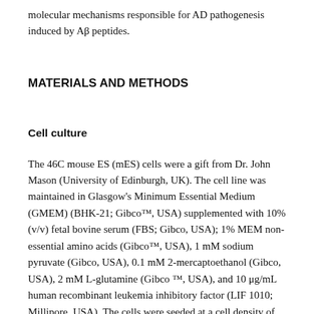molecular mechanisms responsible for AD pathogenesis induced by Aβ peptides.
MATERIALS AND METHODS
Cell culture
The 46C mouse ES (mES) cells were a gift from Dr. John Mason (University of Edinburgh, UK). The cell line was maintained in Glasgow's Minimum Essential Medium (GMEM) (BHK-21; Gibco™, USA) supplemented with 10% (v/v) fetal bovine serum (FBS; Gibco, USA); 1% MEM non-essential amino acids (Gibco™, USA), 1 mM sodium pyruvate (Gibco, USA), 0.1 mM 2-mercaptoethanol (Gibco, USA), 2 mM L-glutamine (Gibco ™, USA), and 10 μg/mL human recombinant leukemia inhibitory factor (LIF 1010; Millipore, USA). The cells were seeded at a cell density of 4.0 × 10⁴ cells/cm² into 25 cm² cell culture flasks coated with 0.1%